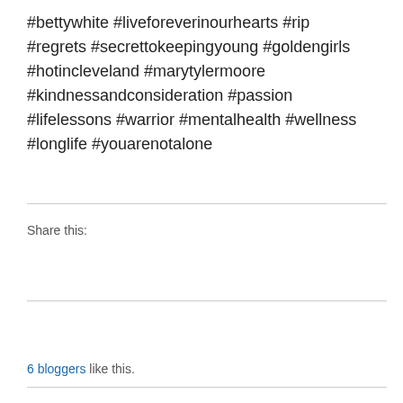#bettywhite #liveforeverinourhearts #rip #regrets #secrettokeepingyoung #goldengirls #hotincleveland #marytylermoore #kindnessandconsideration #passion #lifelessons #warrior #mentalhealth #wellness #longlife #youarenotalone
Share this:
[Figure (other): Tweet button with Twitter bird logo]
[Figure (other): Like button with star icon and 6 blogger avatars]
6 bloggers like this.